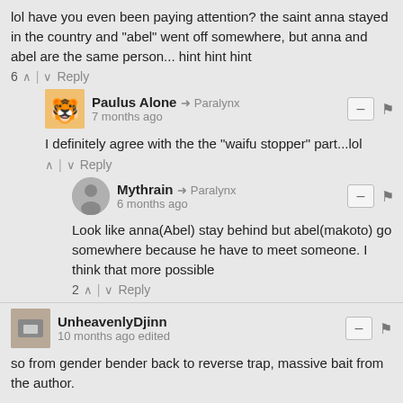lol have you even been paying attention? the saint anna stayed in the country and "abel" went off somewhere, but anna and abel are the same person... hint hint hint
6 ∧ | ∨ Reply
Paulus Alone → Paralynx
7 months ago
I definitely agree with the the "waifu stopper" part...lol
∧ | ∨ Reply
Mythrain → Paralynx
6 months ago
Look like anna(Abel) stay behind but abel(makoto) go somewhere because he have to meet someone. I think that more possible
2 ∧ | ∨ Reply
UnheavenlyDjinn
10 months ago edited
so from gender bender back to reverse trap, massive bait from the author.